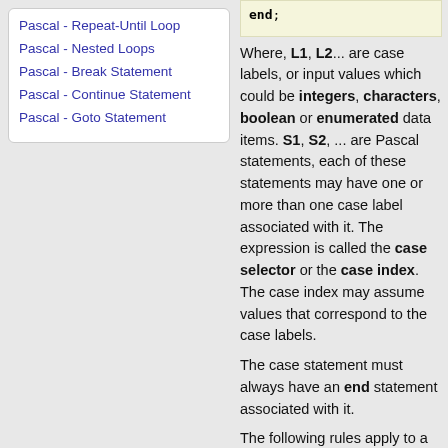Pascal - Repeat-Until Loop
Pascal - Nested Loops
Pascal - Break Statement
Pascal - Continue Statement
Pascal - Goto Statement
[Figure (screenshot): Code snippet showing 'end;' in a light yellow box]
Where, L1, L2... are case labels, or input values which could be integers, characters, boolean or enumerated data items. S1, S2, ... are Pascal statements, each of these statements may have one or more than one case label associated with it. The expression is called the case selector or the case index. The case index may assume values that correspond to the case labels.
The case statement must always have an end statement associated with it.
The following rules apply to a case statement:
The expression used in a case...